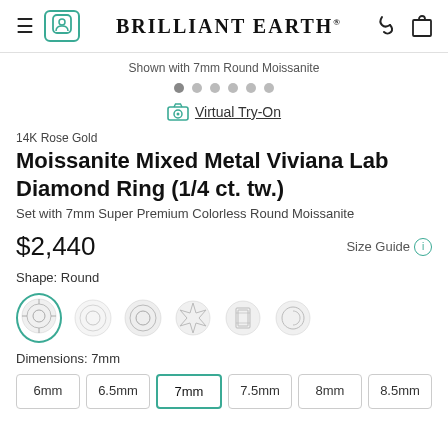BRILLIANT EARTH®
Shown with 7mm Round Moissanite
Virtual Try-On
14K Rose Gold
Moissanite Mixed Metal Viviana Lab Diamond Ring (1/4 ct. tw.)
Set with 7mm Super Premium Colorless Round Moissanite
$2,440
Size Guide
Shape: Round
Dimensions: 7mm
6mm  6.5mm  7mm  7.5mm  8mm  8.5mm